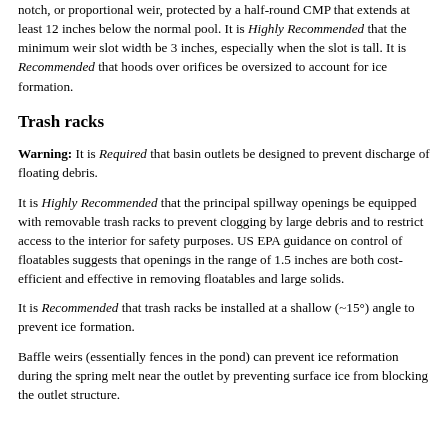notch, or proportional weir, protected by a half-round CMP that extends at least 12 inches below the normal pool. It is Highly Recommended that the minimum weir slot width be 3 inches, especially when the slot is tall. It is Recommended that hoods over orifices be oversized to account for ice formation.
Trash racks
Warning: It is Required that basin outlets be designed to prevent discharge of floating debris.
It is Highly Recommended that the principal spillway openings be equipped with removable trash racks to prevent clogging by large debris and to restrict access to the interior for safety purposes. US EPA guidance on control of floatables suggests that openings in the range of 1.5 inches are both cost-efficient and effective in removing floatables and large solids.
It is Recommended that trash racks be installed at a shallow (~15°) angle to prevent ice formation.
Baffle weirs (essentially fences in the pond) can prevent ice reformation during the spring melt near the outlet by preventing surface ice from blocking the outlet structure.